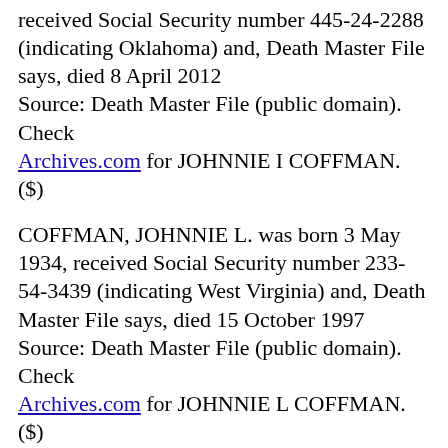received Social Security number 445-24-2288 (indicating Oklahoma) and, Death Master File says, died 8 April 2012
Source: Death Master File (public domain). Check Archives.com for JOHNNIE I COFFMAN. ($)
COFFMAN, JOHNNIE L. was born 3 May 1934, received Social Security number 233-54-3439 (indicating West Virginia) and, Death Master File says, died 15 October 1997
Source: Death Master File (public domain). Check Archives.com for JOHNNIE L COFFMAN. ($)
COFFMAN, JOHNNIE L. was born 27 August 1931, received Social Security number 497-32-0611 (indicating Missouri) and, Death Master File says, died 19 January 1999
Source: Death Master File (public domain). Check Archives.com for JOHNNIE L COFFMAN. ($)
COFFMAN, JOHNNIE N who was 40 (born ART...